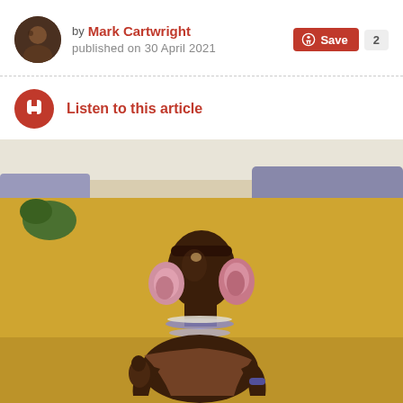by Mark Cartwright published on 30 April 2021
Save 2
Listen to this article
[Figure (illustration): Painting of an African figure, likely a Maasai or similar ethnic person, wearing pink ear ornaments and bead necklaces, depicted against a golden-yellow background with mountains and sky visible behind.]